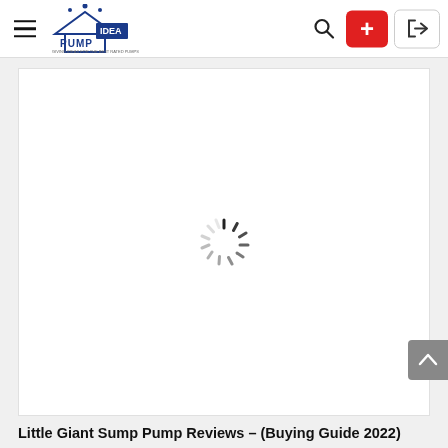Pump Idea — navigation bar with hamburger menu, logo, search icon, plus button, and login button
[Figure (screenshot): White content area with a loading spinner (circular dashed spinner) in the center, indicating content is loading]
Little Giant Sump Pump Reviews – (Buying Guide 2022)